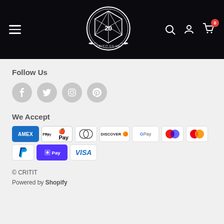[Figure (logo): CRITIT.CO.UK logo — white circular emblem with a D20 die and decorative border on black header background]
Follow Us
[Figure (infographic): Four grey circular social media icons: Facebook, Twitter, Instagram, Pinterest]
We Accept
[Figure (infographic): Payment method logos: AMEX, Apple Pay, Diners Club, Discover, Google Pay, Maestro, Mastercard, PayPal, Shop Pay, Visa]
© CRITIT
Powered by Shopify